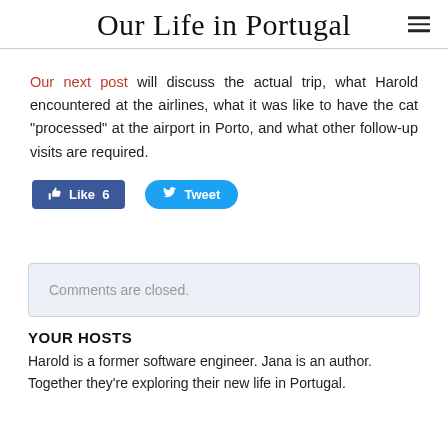Our Life in Portugal
Our next post will discuss the actual trip, what Harold encountered at the airlines, what it was like to have the cat "processed" at the airport in Porto, and what other follow-up visits are required.
[Figure (other): Facebook Like button (Like 6) and Twitter Tweet button]
Comments are closed.
YOUR HOSTS
Harold is a former software engineer. Jana is an author. Together they're exploring their new life in Portugal.